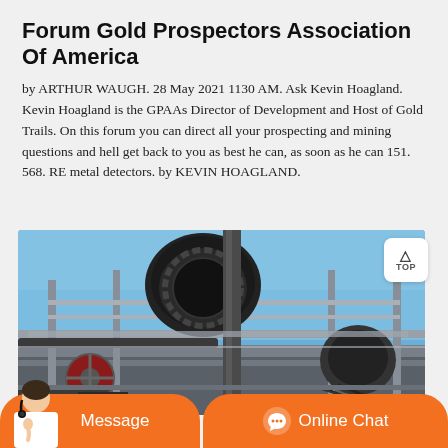Forum Gold Prospectors Association Of America
by ARTHUR WAUGH. 28 May 2021 1130 AM. Ask Kevin Hoagland. Kevin Hoagland is the GPAAs Director of Development and Host of Gold Trails. On this forum you can direct all your prospecting and mining questions and hell get back to you as best he can, as soon as he can 151. 568. RE metal detectors. by KEVIN HOAGLAND.
[Figure (photo): Industrial mining or crushing equipment photographed from below against a blue sky, showing large mechanical components, metal grating platforms, belts, and machinery.]
Message | Online Chat